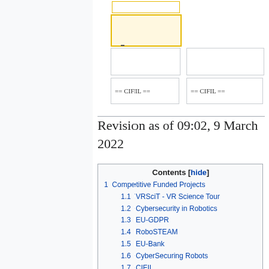[Figure (schematic): Wikipedia-style diff view showing boxes with yellow borders (top-level blocks) and grey borders (sub-blocks), with '== CIFIL ==' text labels in two lower boxes]
Revision as of 09:02, 9 March 2022
| Contents [hide] |
| --- |
| 1  Competitive Funded Projects |
| 1.1  VRSciT - VR Science Tour |
| 1.2  Cybersecurity in Robotics |
| 1.3  EU-GDPR |
| 1.4  RoboSTEAM |
| 1.5  EU-Bank |
| 1.6  CyberSecuring Robots |
| 1.7  CIFIL |
| 2  Private Funded Projects |
| 2.1  The Rover |